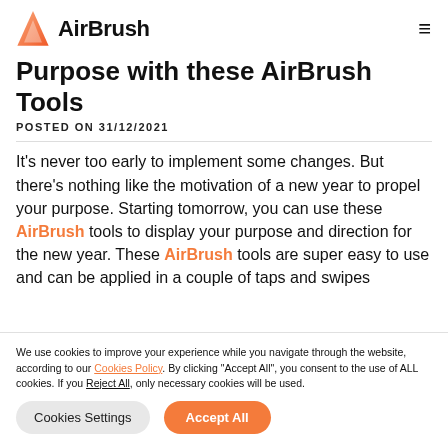AirBrush
Purpose with these AirBrush Tools
POSTED ON 31/12/2021
It’s never too early to implement some changes. But there’s nothing like the motivation of a new year to propel your purpose. Starting tomorrow, you can use these AirBrush tools to display your purpose and direction for the new year. These AirBrush tools are super easy to use and can be applied in a couple of taps and swipes
We use cookies to improve your experience while you navigate through the website, according to our Cookies Policy. By clicking “Accept All”, you consent to the use of ALL cookies. If you Reject All, only necessary cookies will be used.
Cookies Settings | Accept All